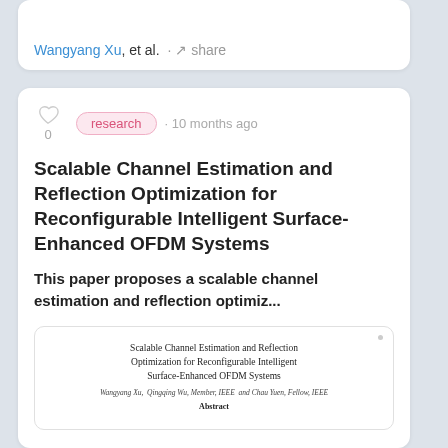Wangyang Xu, et al. · share
[Figure (screenshot): Research paper listing card with heart/like icon (0), 'research' tag pill, '10 months ago' timestamp, paper title 'Scalable Channel Estimation and Reflection Optimization for Reconfigurable Intelligent Surface-Enhanced OFDM Systems', abstract snippet, and a paper preview thumbnail showing the paper title, authors, and abstract label.]